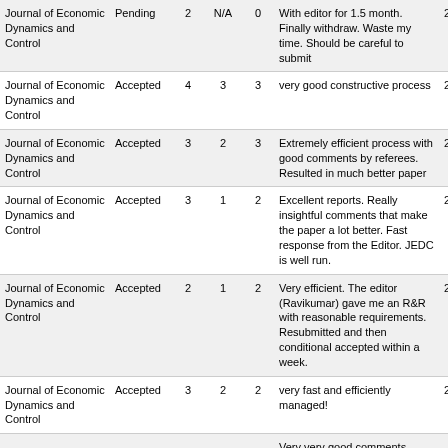| Journal | Status |  |  |  | Comment | Year |
| --- | --- | --- | --- | --- | --- | --- |
| Journal of Economic Dynamics and Control | Pending | 2 | N/A | 0 | With editor for 1.5 month. Finally withdraw. Waste my time. Should be careful to submit | 20 |
| Journal of Economic Dynamics and Control | Accepted | 4 | 3 | 3 | very good constructive process | 20 |
| Journal of Economic Dynamics and Control | Accepted | 3 | 2 | 3 | Extremely efficient process with good comments by referees. Resulted in much better paper | 20 |
| Journal of Economic Dynamics and Control | Accepted | 3 | 1 | 2 | Excellent reports. Really insightful comments that make the paper a lot better. Fast response from the Editor. JEDC is well run. | 20 |
| Journal of Economic Dynamics and Control | Accepted | 2 | 1 | 2 | Very efficient. The editor (Ravikumar) gave me an R&R with reasonable requirements. Resubmitted and then conditional accepted within a week. | 20 |
| Journal of Economic Dynamics and Control | Accepted | 3 | 2 | 2 | very fast and efficiently managed! | 20 |
|  |  |  |  |  | Very very good comments, referee was clearly very knowledgeable. Very tough report on the first RR. |  |